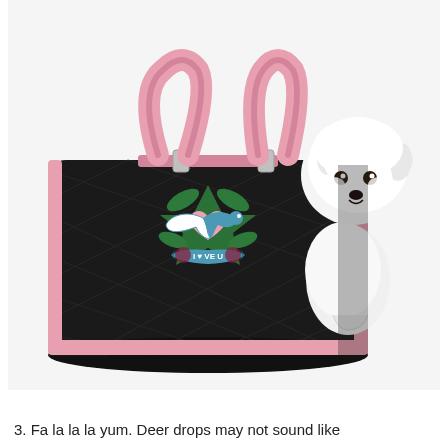[Figure (photo): A small white fluffy dog (Maltese or similar breed) peeking out of a black quilted pet carrier bag with pink leather handles and pink trim. The bag has a tattoo-style embroidered design on the front featuring a bird, heart, and banner reading 'I Love U' with floral elements. The background is white.]
3. Fa la la la yum. Deer drops may not sound like